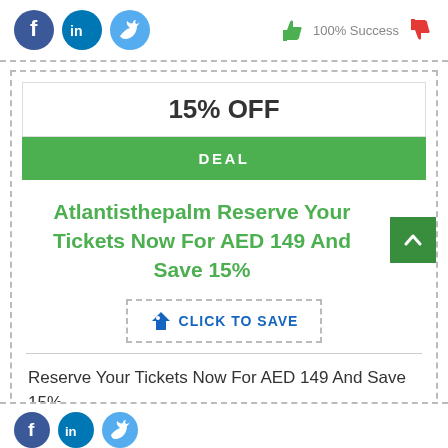[Figure (infographic): Social media icons: Facebook (blue circle with f), LinkedIn (blue circle with in), Twitter (light blue circle with bird). On the right: green thumbs up icon, '100% Success' text in grey, red thumbs down icon.]
[Figure (infographic): Coupon box with dashed border. Contains '15% OFF' label and green 'DEAL' button.]
Atlantisthepalm Reserve Your Tickets Now For AED 149 And Save 15%
[Figure (infographic): Blue tag icon with 'CLICK TO SAVE' text inside dashed border button. Green scroll-to-top arrow button on the right.]
Reserve Your Tickets Now For AED 149 And Save 15%
[Figure (infographic): Partial view of social media icons at bottom: Facebook, LinkedIn, Twitter circles.]